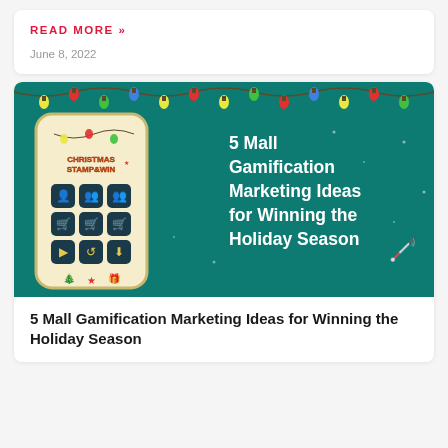READ MORE »
June 8, 2022
[Figure (illustration): Promotional banner for Christmas Stamp and Win app showing a phone mockup with a loyalty card grid on a teal holiday background with Christmas lights and the text '5 Mall Gamification Marketing Ideas for Winning the Holiday Season']
5 Mall Gamification Marketing Ideas for Winning the Holiday Season